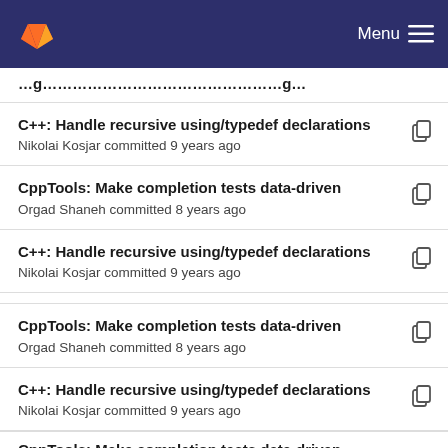GitLab — Menu
C++: Handle recursive using/typedef declarations
Nikolai Kosjar committed 9 years ago
CppTools: Make completion tests data-driven
Orgad Shaneh committed 8 years ago
C++: Handle recursive using/typedef declarations
Nikolai Kosjar committed 9 years ago
CppTools: Make completion tests data-driven
Orgad Shaneh committed 8 years ago
C++: Handle recursive using/typedef declarations
Nikolai Kosjar committed 9 years ago
CppTools: Make completion tests data-driven (partial)